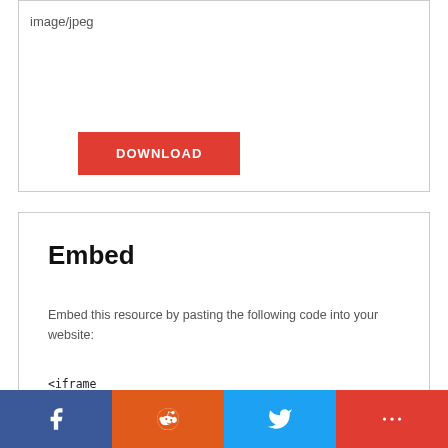image/jpeg
DOWNLOAD
Embed
Embed this resource by pasting the following code into your website:
<iframe src="https://mars.nasa.gov/raw_images/embed/72736" width="400" height="400" scrolling="no" frameborder="0"></iframe>